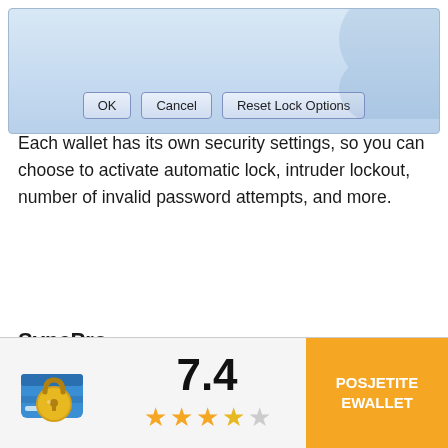[Figure (screenshot): Dialog box with OK, Cancel, and Reset Lock Options buttons on a light blue gradient background]
Each wallet has its own security settings, so you can choose to activate automatic lock, intruder lockout, number of invalid password attempts, and more.
SyncPro
If you download eWallet to multiple devices, you'll naturally want to sync them. SyncPro is eWallet's syncing system, and it works via cloud and
[Figure (screenshot): App rating bar showing eWallet app icon (padlock on blue credit card), rating of 7.4 with 3.5 stars, and orange button labeled POSJETITE EWALLET]